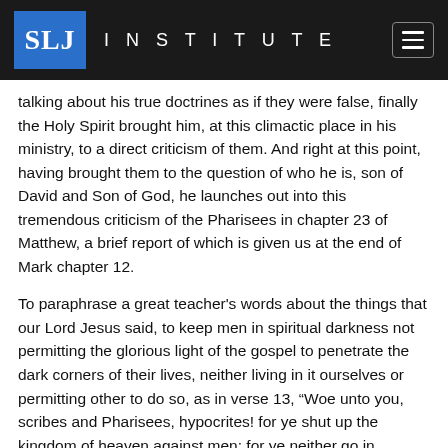SLJ INSTITUTE
talking about his true doctrines as if they were false, finally the Holy Spirit brought him, at this climactic place in his ministry, to a direct criticism of them. And right at this point, having brought them to the question of who he is, son of David and Son of God, he launches out into this tremendous criticism of the Pharisees in chapter 23 of Matthew, a brief report of which is given us at the end of Mark chapter 12.
To paraphrase a great teacher's words about the things that our Lord Jesus said, to keep men in spiritual darkness not permitting the glorious light of the gospel to penetrate the dark corners of their lives, neither living in it ourselves or permitting other to do so, as in verse 13, “Woe unto you, scribes and Pharisees, hypocrites! for ye shut up the kingdom of heaven against men: for ye neither go in yourselves, neither suffer ye them that are entering in.” To enroll members in our denomination or sect arrogantly claiming that such membership is membership in the church of God and yet instructing them only in our darkness, as is done in verse 14, “Woe unto you, scribes and Pharisees, hypocrites! for ye devour widows’